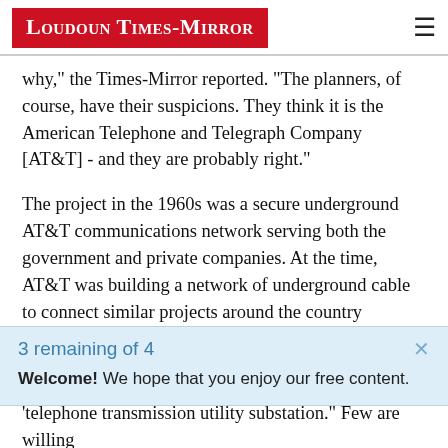Loudoun Times-Mirror
why," the Times-Mirror reported. "The planners, of course, have their suspicions. They think it is the American Telephone and Telegraph Company [AT&T] - and they are probably right."
The project in the 1960s was a secure underground AT&T communications network serving both the government and private companies. At the time, AT&T was building a network of underground cable to connect similar projects around the country stretching from Maryland to Kansas
3 remaining of 4
Welcome! We hope that you enjoy our free content.
'telephone transmission utility substation.' Few are willing